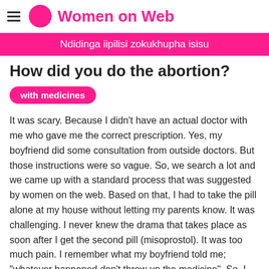Women on Web
Ndidinga iipilisi zokukhupha isisu
How did you do the abortion?
with medicines
It was scary. Because I didn't have an actual doctor with me who gave me the correct prescription. Yes, my boyfriend did some consultation from outside doctors. But those instructions were so vague. So, we search a lot and we came up with a standard process that was suggested by women on the web. Based on that, I had to take the pill alone at my house without letting my parents know. It was challenging. I never knew the drama that takes place as soon after I get the second pill (misoprostol). It was too much pain. I remember what my boyfriend told me; "whatever happened don't throw up the medicine". So, I didn't vomit. My hands were bit itchy and swollen. I was so scared that whether I am allergic to the medicine. But